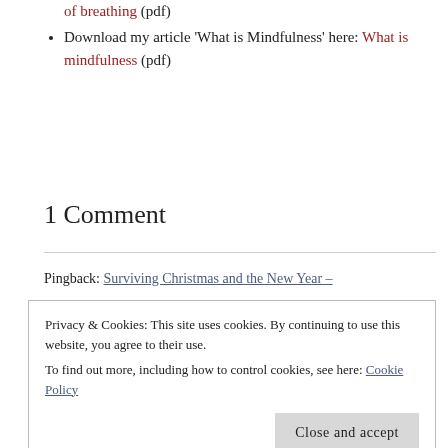of breathing (pdf)
Download my article 'What is Mindfulness' here: What is mindfulness (pdf)
1 Comment
Pingback: Surviving Christmas and the New Year –
Privacy & Cookies: This site uses cookies. By continuing to use this website, you agree to their use. To find out more, including how to control cookies, see here: Cookie Policy
Close and accept